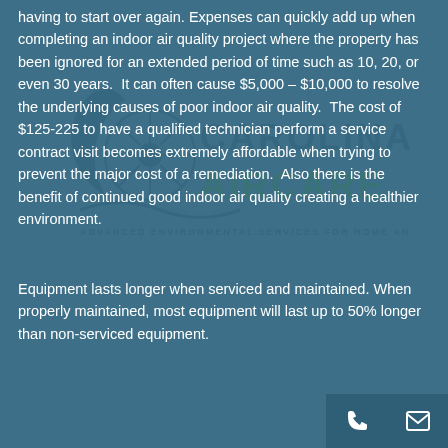having to start over again. Expenses can quickly add up when completing an indoor air quality project where the property has been ignored for an extended period of time such as 10, 20, or even 30 years. It can often cause $5,000 – $10,000 to resolve the underlying causes of poor indoor air quality. The cost of $125-225 to have a qualified technician perform a service contract visit becomes extremely affordable when trying to prevent the major cost of a remediation. Also there is the benefit of continued good indoor air quality creating a healthier environment.
[Figure (logo): Carolina Air Care logo watermark in background — crescent moon with flower/dandelion icon, text CAROLINA AIRCARE, subtitle ADVANCED ENVIRONMENTAL SERVICES FOR HOME AND BUSINESS]
Equipment lasts longer when serviced and maintained. When properly maintained, most equipment will last up to 50% longer than non-serviced equipment.